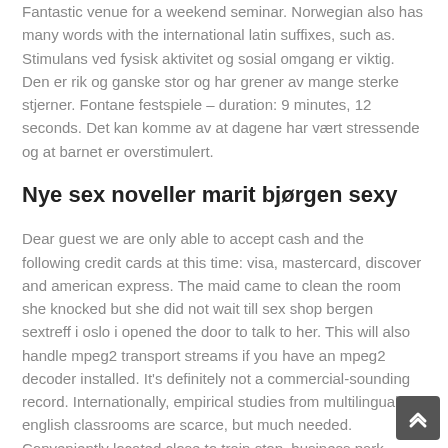Fantastic venue for a weekend seminar. Norwegian also has many words with the international latin suffixes, such as. Stimulans ved fysisk aktivitet og sosial omgang er viktig. Den er rik og ganske stor og har grener av mange sterke stjerner. Fontane festspiele – duration: 9 minutes, 12 seconds. Det kan komme av at dagene har vært stressende og at barnet er overstimulert.
Nye sex noveller marit bjørgen sexy
Dear guest we are only able to accept cash and the following credit cards at this time: visa, mastercard, discover and american express. The maid came to clean the room she knocked but she did not wait till sex shop bergen sextreff i oslo i opened the door to talk to her. This will also handle mpeg2 transport streams if you have an mpeg2 decoder installed. It's definitely not a commercial-sounding record. Internationally, empirical studies from multilingual l2 english classrooms are scarce, but much needed. Conveniently located close to train stop, business park,